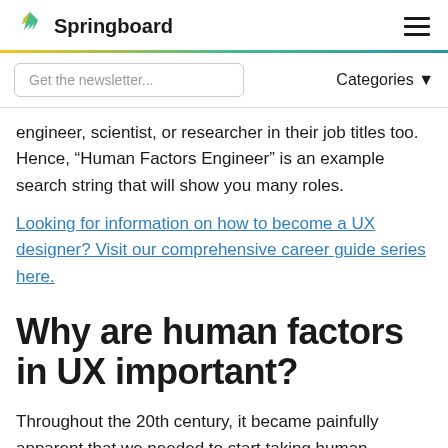Springboard
engineer, scientist, or researcher in their job titles too. Hence, “Human Factors Engineer” is an example search string that will show you many roles.
Looking for information on how to become a UX designer? Visit our comprehensive career guide series here.
Why are human factors in UX important?
Throughout the 20th century, it became painfully apparent that we needed to start taking human limitations into